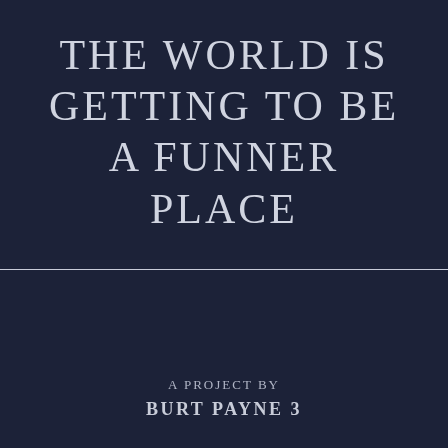THE WORLD IS GETTING TO BE A FUNNER PLACE
A PROJECT BY
BURT PAYNE 3